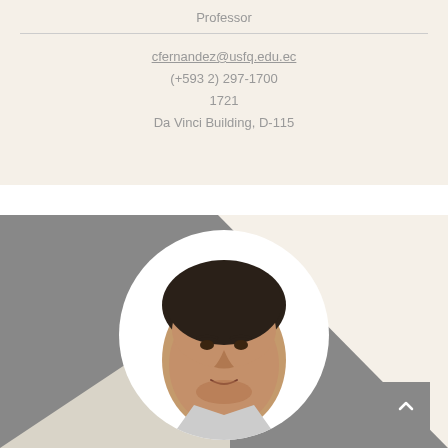Professor
cfernandez@usfq.edu.ec
(+593 2) 297-1700
1721
Da Vinci Building, D-115
[Figure (photo): Profile photo of a man with dark hair in a circular frame, set against a gray and beige geometric background with a scroll-to-top button in the bottom right corner.]